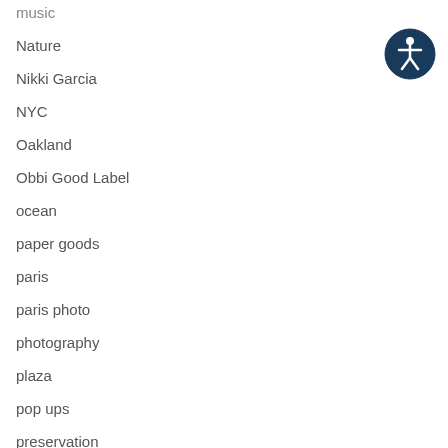music
Nature
Nikki Garcia
NYC
Oakland
Obbi Good Label
ocean
paper goods
paris
paris photo
photography
plaza
pop ups
preservation
[Figure (illustration): Accessibility icon: dark blue circle with white human figure outline (wheelchair accessibility symbol)]